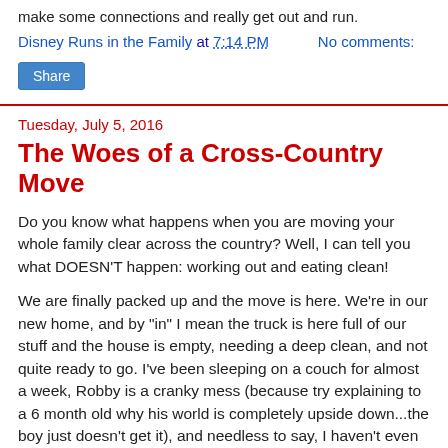make some connections and really get out and run.
Disney Runs in the Family at 7:14 PM   No comments:
Share
Tuesday, July 5, 2016
The Woes of a Cross-Country Move
Do you know what happens when you are moving your whole family clear across the country? Well, I can tell you what DOESN'T happen: working out and eating clean!
We are finally packed up and the move is here. We're in our new home, and by "in" I mean the truck is here full of our stuff and the house is empty, needing a deep clean, and not quite ready to go. I've been sleeping on a couch for almost a week, Robby is a cranky mess (because try explaining to a 6 month old why his world is completely upside down...the boy just doesn't get it), and needless to say, I haven't even made a to-do list because the thought is overwhelming.